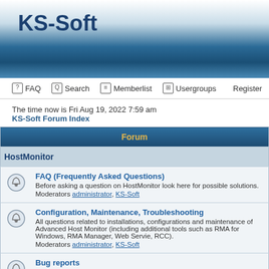[Figure (screenshot): KS-Soft forum website header banner with logo and gradient blue background]
FAQ  Search  Memberlist  Usergroups  Register
The time now is Fri Aug 19, 2022 7:59 am
KS-Soft Forum Index
| Forum |
| --- |
| HostMonitor |
| FAQ (Frequently Asked Questions) | Before asking a question on HostMonitor look here for possible solutions.
Moderators administrator, KS-Soft |
| Configuration, Maintenance, Troubleshooting | All questions related to installations, configurations and maintenance of Advanced Host Monitor (including additional tools such as RMA for Windows, RMA Manager, Web Servie, RCC).
Moderators administrator, KS-Soft |
| Bug reports | When you post information about some problem, please include the following details: - OS version (e.g. Windows 2000 Professional SP3); HostMonitor version; problem description.
Moderators administrator, KS-Soft |
| Wish list | Need new test, action, option? Post request here. |